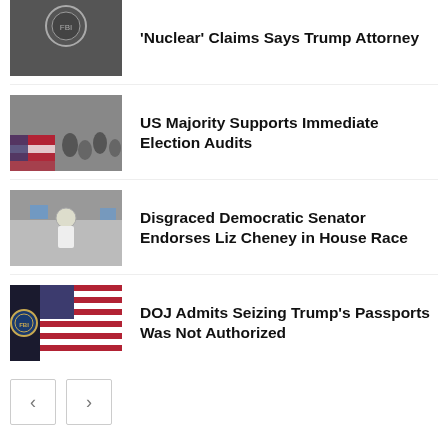'Nuclear' Claims Says Trump Attorney
US Majority Supports Immediate Election Audits
Disgraced Democratic Senator Endorses Liz Cheney in House Race
DOJ Admits Seizing Trump's Passports Was Not Authorized